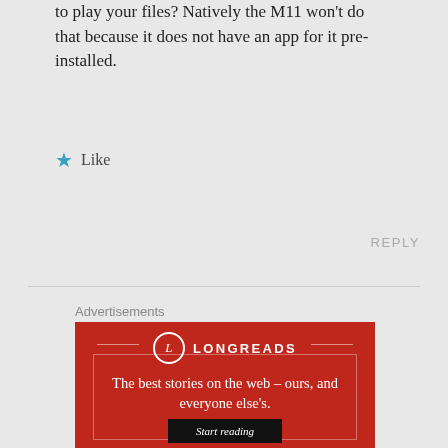to play your files? Natively the M11 won't do that because it does not have an app for it pre-installed.
★ Like
REPLY
Advertisements
[Figure (infographic): Longreads advertisement banner with red background. Shows the Longreads logo (circle with L), tagline 'The best stories on the web – ours, and everyone else's.' and a black 'Start reading' button.]